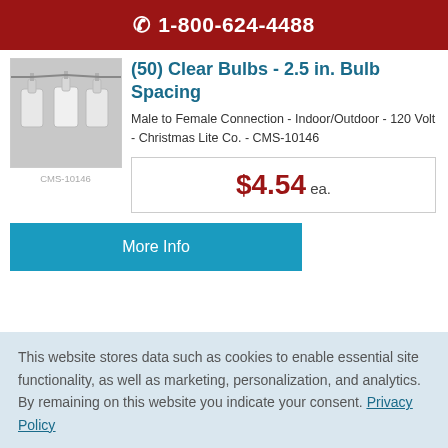1-800-624-4488
[Figure (photo): Product photo of white C7/C9 Christmas light string with clear bulbs on grey background]
CMS-10146
(50) Clear Bulbs - 2.5 in. Bulb Spacing
Male to Female Connection - Indoor/Outdoor - 120 Volt - Christmas Lite Co. - CMS-10146
$4.54 ea.
More Info
This website stores data such as cookies to enable essential site functionality, as well as marketing, personalization, and analytics. By remaining on this website you indicate your consent. Privacy Policy